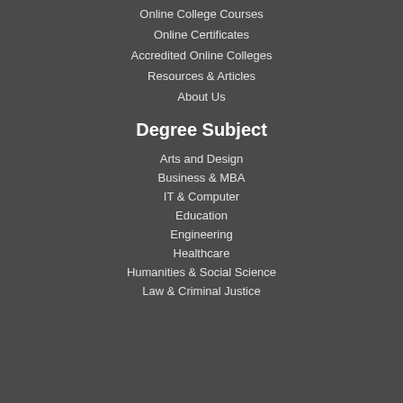Online College Courses
Online Certificates
Accredited Online Colleges
Resources & Articles
About Us
Degree Subject
Arts and Design
Business & MBA
IT & Computer
Education
Engineering
Healthcare
Humanities & Social Science
Law & Criminal Justice